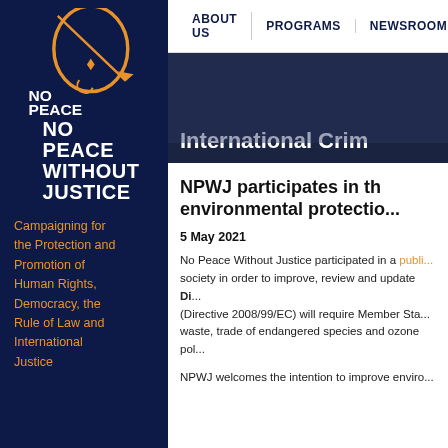[Figure (logo): No Peace Without Justice logo — orange circular swirl with arrow and diamond shapes above white bold text 'NO PEACE WITHOUT JUSTICE' on dark blue background]
Campaigning for the Protection and Promotion of Human Rights, Democracy, the Rule of Law and International Justice
ABOUT US  PROGRAMS  NEWSROOM
[Figure (photo): Dark banner image with text overlay reading 'International Crim...' — partial heading visible on dark photographic background]
NPWJ participates in th... environmental protectio...
5 May 2021
No Peace Without Justice participated in a public... society in order to improve, review and update Di... (Directive 2008/99/EC) will require Member Sta... waste, trade of endangered species and ozone pol...
NPWJ welcomes the intention to improve enviro...